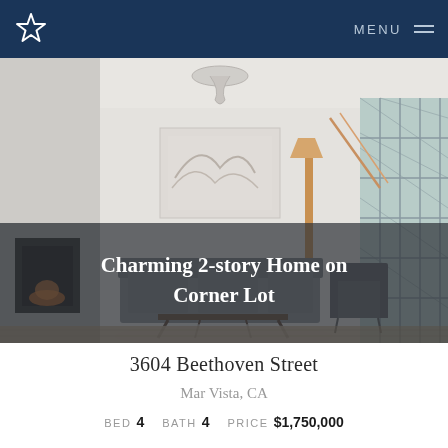MENU
[Figure (photo): Interior photo of a bright modern living room with a sofa, chair, coffee table, pendant light fixture, fireplace, artwork on wall, floor lamp, and large windows. Overlay title reads: Charming 2-story Home on Corner Lot]
Charming 2-story Home on Corner Lot
3604 Beethoven Street
Mar Vista, CA
BED 4   BATH 4   PRICE $1,750,000